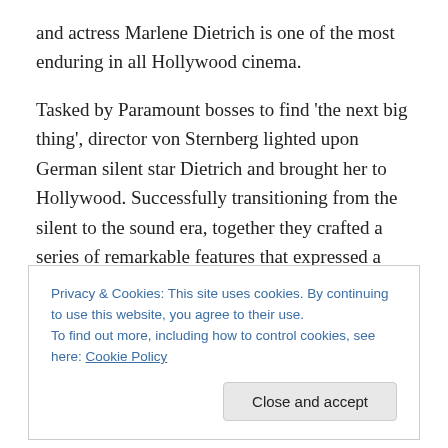and actress Marlene Dietrich is one of the most enduring in all Hollywood cinema.
Tasked by Paramount bosses to find 'the next big thing', director von Sternberg lighted upon German silent star Dietrich and brought her to Hollywood. Successfully transitioning from the silent to the sound era, together they crafted a series of remarkable features that expressed a previously hitherto unbridled ecstasy in the process of filmmaking itself – Morocco (1930), Dishonored (1931), Shanghai Express (1932), Blonde Venus (1932), The
Privacy & Cookies: This site uses cookies. By continuing to use this website, you agree to their use.
To find out more, including how to control cookies, see here: Cookie Policy